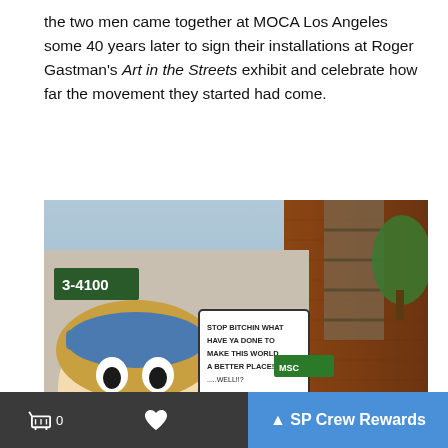the two men came together at MOCA Los Angeles some 40 years later to sign their installations at Roger Gastman's Art in the Streets exhibit and celebrate how far the movement they started had come.
[Figure (photo): A photograph of a building exterior covered in colorful graffiti murals. There is a comic-style character of a laughing person with a speech bubble reading 'STOP BITCHIN WHAT HAVE YA DONE TO MAKE THIS WORLD A BETTER PLACE!! .....WELL!!?' Large graffiti lettering covers the lower portion. A blonde female character is painted on the right side. A number '3-4100' is visible on the building. Trees and brick building are visible in the background.]
🛒 0   ♥   ^ SP Crew Rewards